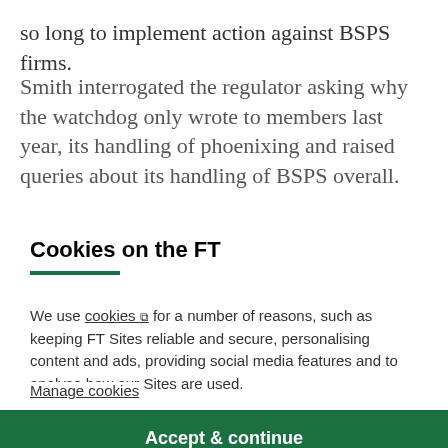so long to implement action against BSPS firms.
Smith interrogated the regulator asking why the watchdog only wrote to members last year, its handling of phoenixing and raised queries about its handling of BSPS overall.
Cookies on the FT
We use cookies ↗ for a number of reasons, such as keeping FT Sites reliable and secure, personalising content and ads, providing social media features and to analyse how our Sites are used.
Manage cookies
Accept & continue